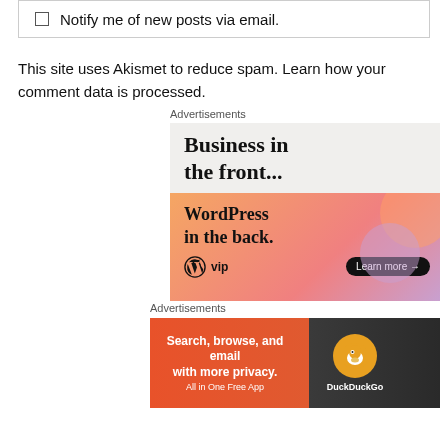Notify me of new posts via email.
This site uses Akismet to reduce spam. Learn how your comment data is processed.
Advertisements
[Figure (illustration): WordPress VIP advertisement: 'Business in the front...' in light gray area, 'WordPress in the back.' in orange-peach gradient area with WordPress VIP logo and 'Learn more →' button.]
[Figure (illustration): DuckDuckGo advertisement: 'Search, browse, and email with more privacy. All in One Free App' on orange background with DuckDuckGo duck logo on dark right side.]
Advertisements